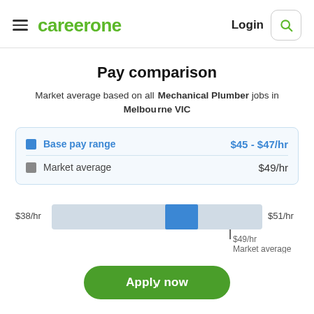careerone | Login
Pay comparison
Market average based on all Mechanical Plumber jobs in Melbourne VIC
[Figure (bar-chart): Horizontal bar chart showing base pay range $45-$47/hr highlighted in blue, market average marker at $49/hr, full range $38/hr to $51/hr]
Base pay range $45 - $47/hr
Market average $49/hr
$49/hr Market average